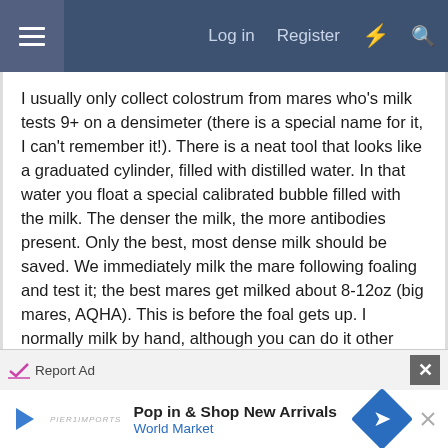Log in  Register
I usually only collect colostrum from mares who's milk tests 9+ on a densimeter (there is a special name for it, I can't remember it!). There is a neat tool that looks like a graduated cylinder, filled with distilled water. In that water you float a special calibrated bubble filled with the milk. The denser the milk, the more antibodies present. Only the best, most dense milk should be saved. We immediately milk the mare following foaling and test it; the best mares get milked about 8-12oz (big mares, AQHA). This is before the foal gets up. I normally milk by hand, although you can do it other ways too. There is a new tool sold by ARS (www.arssales.com) that makes milking a breeze. The other thing you can do is take a 60cc syringe, remove
Report Ad
Pop in & Shop New Arrivals
World Market